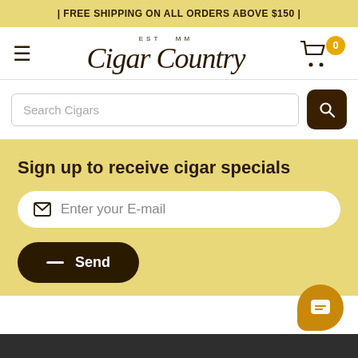| FREE SHIPPING ON ALL ORDERS ABOVE $150 |
[Figure (logo): Cigar Country logo with EST MM tagline, hamburger menu icon on the left, shopping cart with badge showing 0 on the right]
Search Cigars
Sign up to receive cigar specials
Enter your E-mail
Send